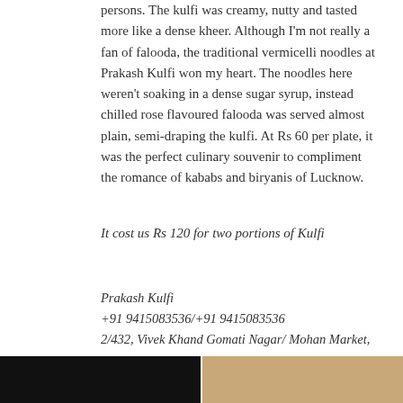persons. The kulfi was creamy, nutty and tasted more like a dense kheer. Although I'm not really a fan of falooda, the traditional vermicelli noodles at Prakash Kulfi won my heart. The noodles here weren't soaking in a dense sugar syrup, instead chilled rose flavoured falooda was served almost plain, semi-draping the kulfi. At Rs 60 per plate, it was the perfect culinary souvenir to compliment the romance of kababs and biryanis of Lucknow.
It cost us Rs 120 for two portions of Kulfi
Prakash Kulfi
+91 9415083536/+91 9415083536
2/432, Vivek Khand Gomati Nagar/ Mohan Market, Khayali Ganj, Aminabad/ Santoshi Mata Mandir Crossing, Chawk
Open 9am until 9pm, daily
[Figure (photo): Two photos side by side at the bottom of the page: left photo shows a dark nighttime scene, right photo shows a warm tan/beige colored surface]